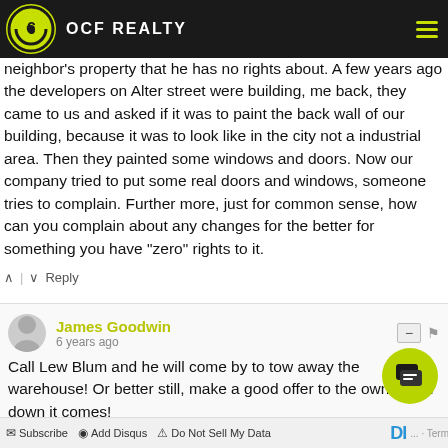OCF REALTY
neighbor's property that he has no rights about. A few years ago the developers on Alter street were building, me back, they came to us and asked if it was to paint the back wall of our building, because it was to look like in the city not a industrial area. Then they painted some windows and doors. Now our company tried to put some real doors and windows, someone tries to complain. Further more, just for common sense, how can you complain about any changes for the better for something you have “zero” rights to it.
Reply
James Goodwin
6 years ago
Call Lew Blum and he will come by to tow away the warehouse! Or better still, make a good offer to the owner and down it comes!
Reply
Subscribe   Add Disqus   Do Not Sell My Data   DI...